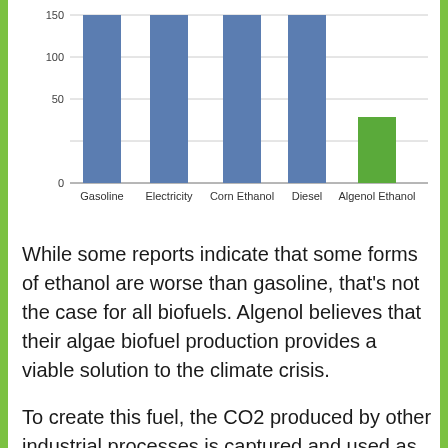[Figure (bar-chart): ]
While some reports indicate that some forms of ethanol are worse than gasoline, that's not the case for all biofuels. Algenol believes that their algae biofuel production provides a viable solution to the climate crisis.
To create this fuel, the CO2 produced by other industrial processes is captured and used as feedstock for the algae in an outdoor reactor system, resulting in ethanol through